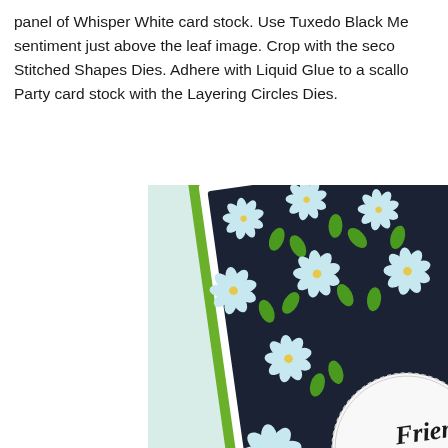panel of Whisper White card stock.  Use Tuxedo Black Me... sentiment just above the leaf image.  Crop with the seco... Stitched Shapes Dies.  Adhere with Liquid Glue to a scallo... Party card stock with the Layering Circles Dies.
[Figure (photo): A greeting card featuring a dark navy/black background with white and light blue daisy flowers and green leaves pattern. A green border frames the card. In the lower right area is a circular stitched element showing script text 'Friend' and a large detailed teal/green daisy with a dark center, with additional greenery. The card is photographed at an angle on a light blue-green surface.]